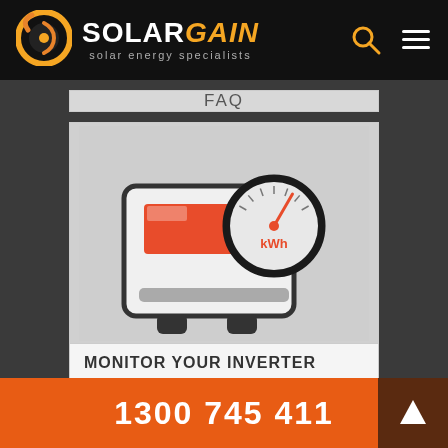SOLARGAIN solar energy specialists
FAQ
[Figure (illustration): Illustration of a solar inverter device with a kWh meter gauge showing a needle pointing to the right, and a red display panel on the inverter unit.]
MONITOR YOUR INVERTER
1300 745 411